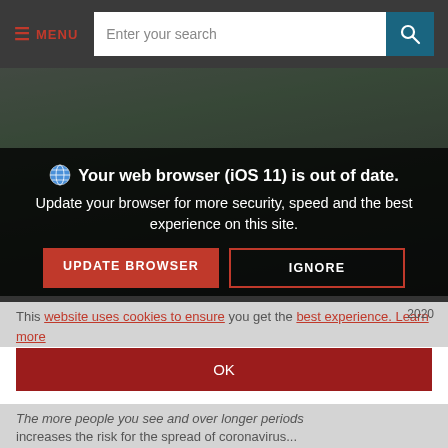≡ MENU | Enter your search [search button]
[Figure (photo): Dark background photo showing an adult helping a child on a bicycle, outdoor scene with road and greenery, partially obscured by overlays.]
🌐 Your web browser (iOS 11) is out of date. Update your browser for more security, speed and the best experience on this site.
UPDATE BROWSER | IGNORE
This website uses cookies to ensure you get the best experience. Learn more
2020
OK
The more people you see and over longer periods increases the risk for the spread of coronavirus...